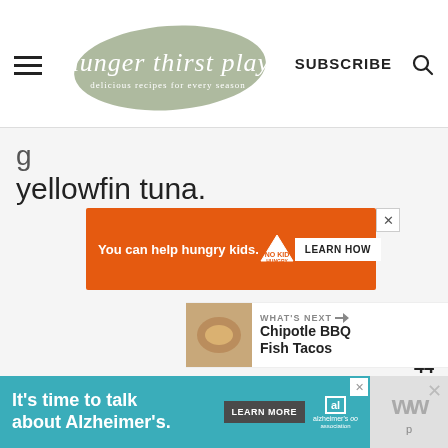hunger thirst play — delicious recipes for every season | SUBSCRIBE
yellowfin tuna.
[Figure (screenshot): Orange advertisement banner: 'You can help hungry kids. NO KID HUNGRY — LEARN HOW']
[Figure (infographic): Sidebar with heart (like) button, count 44, and share button]
[Figure (screenshot): WHAT'S NEXT → Chipotle BBQ Fish Tacos with thumbnail image]
[Figure (screenshot): Teal advertisement banner: 'It's time to talk about Alzheimer's.' with LEARN MORE button and Alzheimer's Association logo]